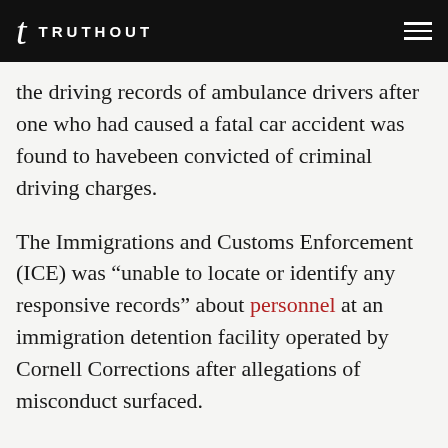TRUTHOUT
the driving records of ambulance drivers after one who had caused a fatal car accident was found to havebeen convicted of criminal driving charges.
The Immigrations and Customs Enforcement (ICE) was “unable to locate or identify any responsive records” about personnel at an immigration detention facility operated by Cornell Corrections after allegations of misconduct surfaced.